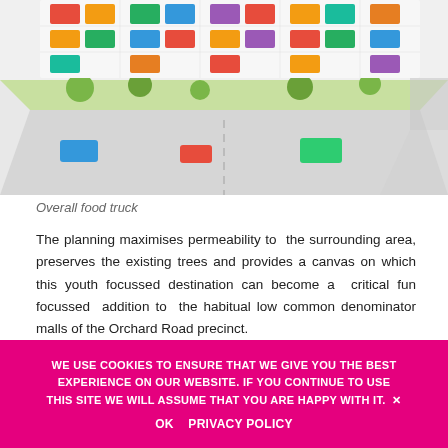[Figure (illustration): Isometric aerial illustration of a food truck event layout with colorful stalls, trees, and people in an urban setting]
Overall food truck
The planning maximises permeability to the surrounding area, preserves the existing trees and provides a canvas on which this youth focussed destination can become a critical fun focussed addition to the habitual low common denominator malls of the Orchard Road precinct.
RUNBON REGENERATION
[Figure (photo): Panoramic street-level photo of an urban area with buildings, power lines, and pink/magenta tent or canopy structures]
WE USE COOKIES TO ENSURE THAT WE GIVE YOU THE BEST EXPERIENCE ON OUR WEBSITE. IF YOU CONTINUE TO USE THIS SITE WE WILL ASSUME THAT YOU ARE HAPPY WITH IT.
OK   PRIVACY POLICY